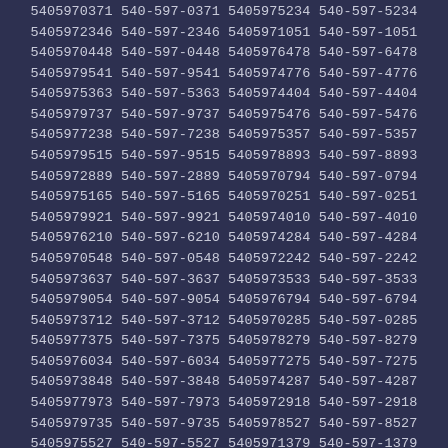5405970371 540-597-0371 5405975234 540-597-5234 5405972346 540-597-2346 5405971051 540-597-1051 5405970448 540-597-0448 5405976478 540-597-6478 5405979541 540-597-9541 5405974776 540-597-4776 5405975363 540-597-5363 5405974404 540-597-4404 5405979737 540-597-9737 5405975476 540-597-5476 5405977238 540-597-7238 5405975357 540-597-5357 5405979515 540-597-9515 5405978893 540-597-8893 5405972889 540-597-2889 5405970794 540-597-0794 5405975165 540-597-5165 5405970251 540-597-0251 5405979921 540-597-9921 5405974010 540-597-4010 5405976210 540-597-6210 5405974284 540-597-4284 5405970548 540-597-0548 5405972242 540-597-2242 5405973637 540-597-3637 5405973533 540-597-3533 5405979054 540-597-9054 5405976794 540-597-6794 5405973712 540-597-3712 5405970285 540-597-0285 5405977375 540-597-7375 5405978279 540-597-8279 5405976034 540-597-6034 5405977275 540-597-7275 5405973848 540-597-3848 5405974287 540-597-4287 5405977973 540-597-7973 5405972918 540-597-2918 5405979735 540-597-9735 5405978527 540-597-8527 5405975527 540-597-5527 5405971379 540-597-1379 5405976077 540-597-6077 5405976637 540-597-6637 5405977430 540-597-7430 5405976607 540-597-6607 5405975861 540-597-5861 5405972704 540-597-2704 5405970912 540-597-0912 5405974732 540-597-4732 5405978102 540-597-8102 5405970450 540-597-0450 5405978626 540-597-8626 5405978266 540-597-8266 5405979222 540-597-9222 5405973183 540-597-3183